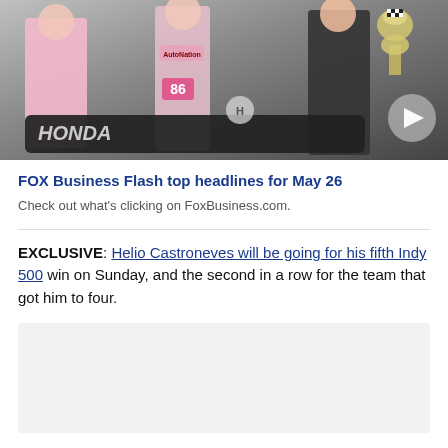[Figure (photo): Photo of three people (two in pink/white race attire, one in dark jacket) posing with an IndyCar racing car and a trophy. A play button overlay is visible. Honda logo visible on car.]
FOX Business Flash top headlines for May 26
Check out what’s clicking on FoxBusiness.com.
EXCLUSIVE: Helio Castroneves will be going for his fifth Indy 500 win on Sunday, and the second in a row for the team that got him to four.
[Figure (other): Gray/light colored empty content box at bottom of page]